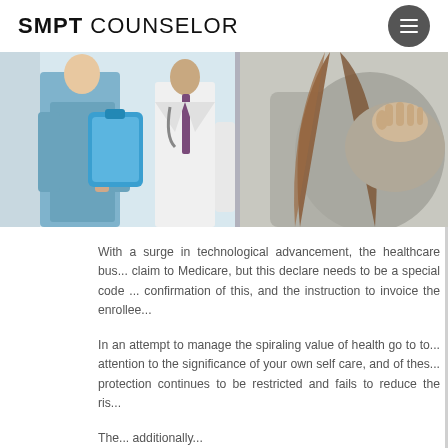SMPT COUNSELOR
[Figure (photo): Medical photo showing a healthcare professional in blue scrubs holding a blue clipboard/folder, with another person in a white coat, and a patient with long hair holding their shoulder/back area, suggesting a consultation or examination scene.]
With a surge in technological advancement, the healthcare bus... claim to Medicare, but this declare needs to be a special code ... confirmation of this, and the instruction to invoice the enrollee...
In an attempt to manage the spiraling value of health go to to... attention to the significance of your own self care, and of thes... protection continues to be restricted and fails to reduce the ris...
The...additionally...